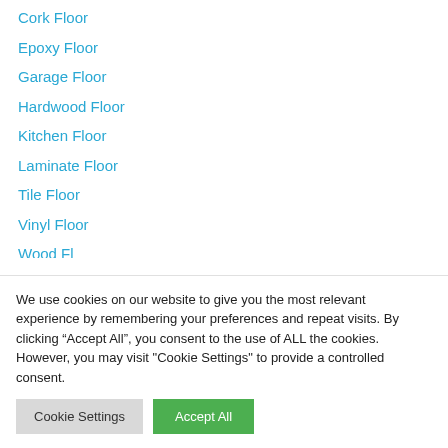Cork Floor
Epoxy Floor
Garage Floor
Hardwood Floor
Kitchen Floor
Laminate Floor
Tile Floor
Vinyl Floor
Wood Fl... (partially visible)
We use cookies on our website to give you the most relevant experience by remembering your preferences and repeat visits. By clicking “Accept All”, you consent to the use of ALL the cookies. However, you may visit "Cookie Settings" to provide a controlled consent.
Cookie Settings | Accept All